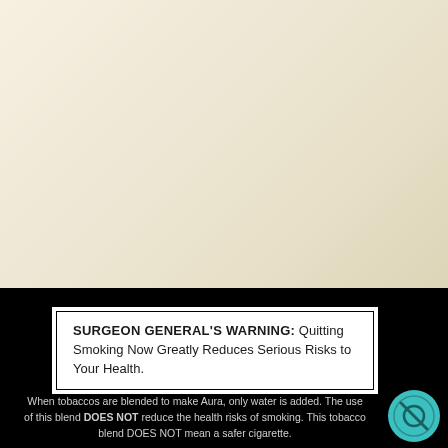[Figure (other): Cream/beige colored background area representing the top portion of a cigarette package]
SURGEON GENERAL'S WARNING: Quitting Smoking Now Greatly Reduces Serious Risks to Your Health.
When tobaccos are blended to make Aura, only water is added. The use of this blend DOES NOT reduce the health risks of smoking. This tobacco blend DOES NOT mean a safer cigarette.